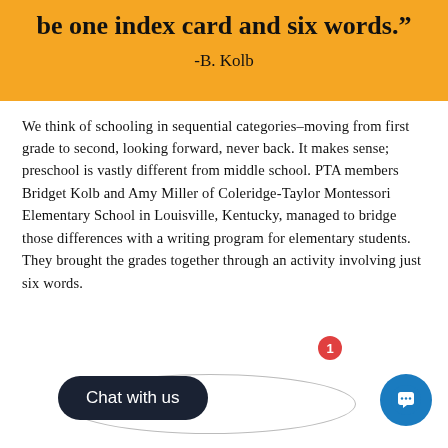be one index card and six words.”
-B. Kolb
We think of schooling in sequential categories–moving from first grade to second, looking forward, never back. It makes sense; preschool is vastly different from middle school. PTA members Bridget Kolb and Amy Miller of Coleridge-Taylor Montessori Elementary School in Louisville, Kentucky, managed to bridge those differences with a writing program for elementary students. They brought the grades together through an activity involving just six words.
[Figure (screenshot): Chat with us button (dark pill-shaped button with badge showing '1') and an Intercom chat icon button (blue circle with chat icon) overlaid on the bottom of the page.]